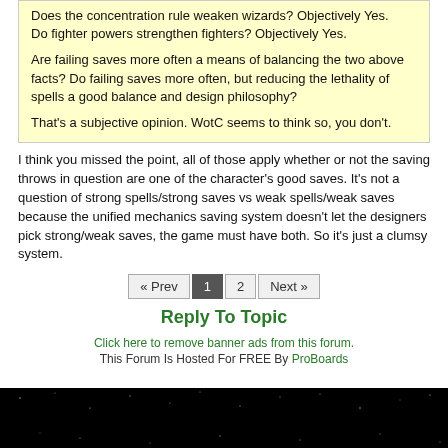Does the concentration rule weaken wizards? Objectively Yes. Do fighter powers strengthen fighters? Objectively Yes.

Are failing saves more often a means of balancing the two above facts? Do failing saves more often, but reducing the lethality of spells a good balance and design philosophy?

That's a subjective opinion. WotC seems to think so, you don't.
I think you missed the point, all of those apply whether or not the saving throws in question are one of the character's good saves. It's not a question of strong spells/strong saves vs weak spells/weak saves because the unified mechanics saving system doesn't let the designers pick strong/weak saves, the game must have both. So it's just a clumsy system.
« Prev  1  2  Next »
Reply To Topic
Click here to remove banner ads from this forum.
This Forum Is Hosted For FREE By ProBoards
[Figure (other): Black banner with starfield background showing text WWW.AU-AV.COM in large white bold letters]